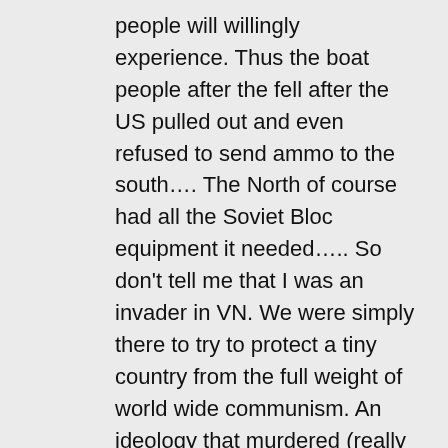people will willingly experience. Thus the boat people after the fell after the US pulled out and even refused to send ammo to the south…. The North of course had all the Soviet Bloc equipment it needed….. So don't tell me that I was an invader in VN. We were simply there to try to protect a tiny country from the full weight of world wide communism. An ideology that murdered (really murdered not killed on the battlefield) something around 200 million of their own innocent civilians over the course of the 20th C. If you think communism is so wonderful look at the Bolshevik Revolution, look at Stalin's way of thinning the population in the Ukraine, his role in the